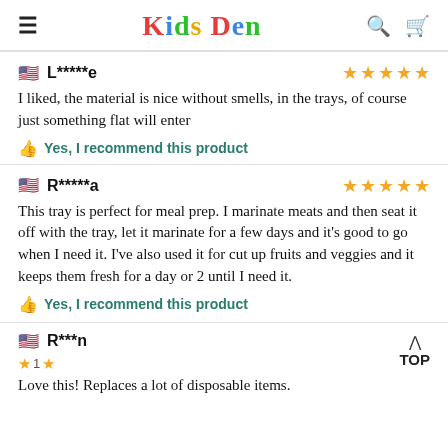Kids Den
L*****e — 5 stars
I liked, the material is nice without smells, in the trays, of course just something flat will enter
Yes, I recommend this product
R*****a — 5 stars
This tray is perfect for meal prep. I marinate meats and then seat it off with the tray, let it marinate for a few days and it's good to go when I need it. I've also used it for cut up fruits and veggies and it keeps them fresh for a day or 2 until I need it.
Yes, I recommend this product
R***n — 1 star
Love this! Replaces a lot of disposable items.